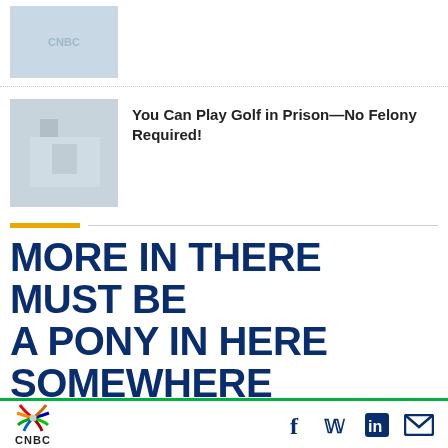[Figure (photo): Thumbnail image with CNBC watermark, light blue-grey tones]
[Figure (photo): Thumbnail image of a prison building exterior, light blue-grey tones]
You Can Play Golf in Prison—No Felony Required!
MORE IN THERE MUST BE A PONY IN HERE SOMEWHERE
[Figure (photo): Photo of a woman with brown hair outdoors, dark blue background with gold/military styling]
CNBC logo with peacock symbol and social media icons: Facebook, Twitter, LinkedIn, Email